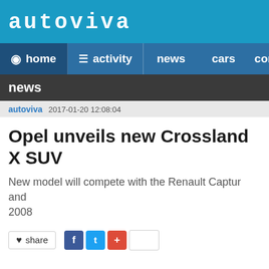autoviva
home   activity   news   cars   com
news
autoviva   2017-01-20 12:08:04
Opel unveils new Crossland X SUV
New model will compete with the Renault Captur and 2008
♥ share  [Facebook] [Twitter] [Google+]